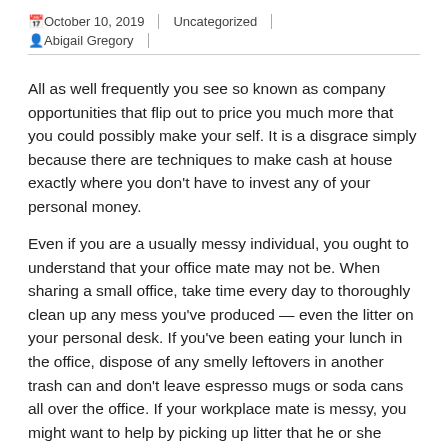📅October 10, 2019 | Uncategorized | 👤Abigail Gregory |
All as well frequently you see so known as company opportunities that flip out to price you much more that you could possibly make your self. It is a disgrace simply because there are techniques to make cash at house exactly where you don't have to invest any of your personal money.
Even if you are a usually messy individual, you ought to understand that your office mate may not be. When sharing a small office, take time every day to thoroughly clean up any mess you've produced — even the litter on your personal desk. If you've been eating your lunch in the office, dispose of any smelly leftovers in another trash can and don't leave espresso mugs or soda cans all over the office. If your workplace mate is messy, you might want to help by picking up litter that he or she leaves